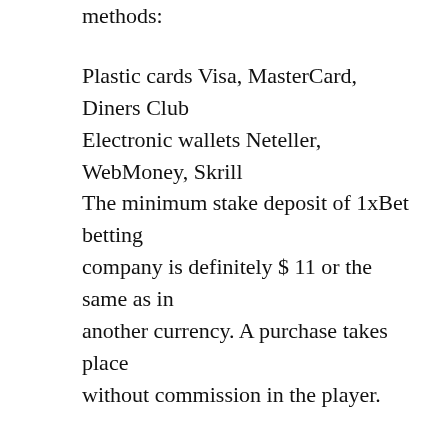methods:
Plastic cards Visa, MasterCard, Diners Club Electronic wallets Neteller, WebMoney, Skrill The minimum stake deposit of 1xBet betting company is definitely $ 11 or the same as in another currency. A purchase takes place without commission in the player.
You may withdraw the money you triumphed in on:
Australian visa cards and on Neteller. WebMoney. Skrill wallets. The timing of the procedure is from 1 to six